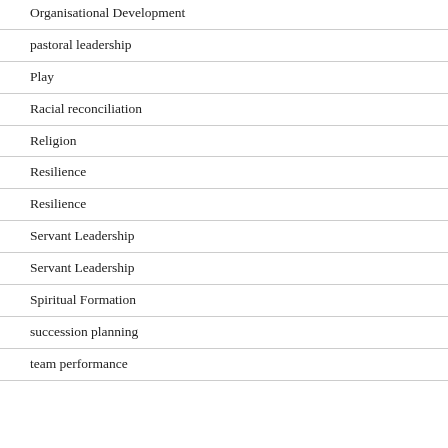Organisational Development
pastoral leadership
Play
Racial reconciliation
Religion
Resilience
Resilience
Servant Leadership
Servant Leadership
Spiritual Formation
succession planning
team performance